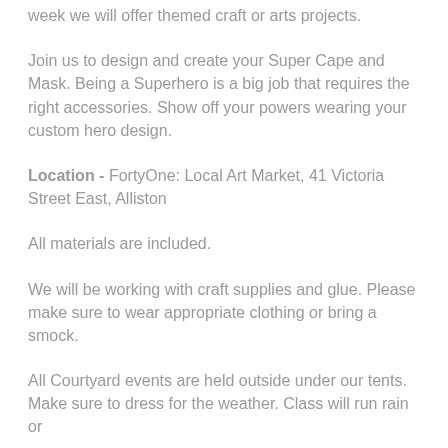week we will offer themed craft or arts projects.
Join us to design and create your Super Cape and Mask. Being a Superhero is a big job that requires the right accessories. Show off your powers wearing your custom hero design.
Location - FortyOne: Local Art Market, 41 Victoria Street East, Alliston
All materials are included.
We will be working with craft supplies and glue. Please make sure to wear appropriate clothing or bring a smock.
All Courtyard events are held outside under our tents. Make sure to dress for the weather. Class will run rain or